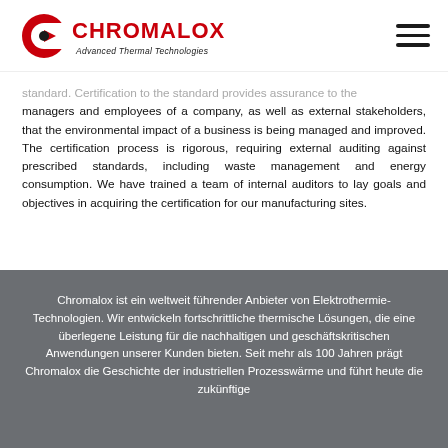Chromalox Advanced Thermal Technologies [logo]
standard. Certification to the standard provides assurance to the managers and employees of a company, as well as external stakeholders, that the environmental impact of a business is being managed and improved. The certification process is rigorous, requiring external auditing against prescribed standards, including waste management and energy consumption. We have trained a team of internal auditors to lay goals and objectives in acquiring the certification for our manufacturing sites.
Chromalox ist ein weltweit führender Anbieter von Elektrothermie-Technologien. Wir entwickeln fortschrittliche thermische Lösungen, die eine überlegene Leistung für die nachhaltigen und geschäftskritischen Anwendungen unserer Kunden bieten. Seit mehr als 100 Jahren prägt Chromalox die Geschichte der industriellen Prozesswärme und führt heute die zukünftige